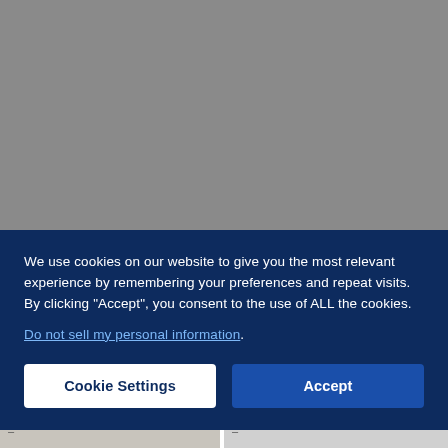[Figure (screenshot): Gray background area representing a website screenshot with a cookie consent banner overlay]
We use cookies on our website to give you the most relevant experience by remembering your preferences and repeat visits. By clicking “Accept”, you consent to the use of ALL the cookies. Do not sell my personal information.
[Figure (other): Cookie Settings button]
[Figure (other): Accept button]
[Figure (photo): Two thumbnail photos at the bottom of the page, partially visible]